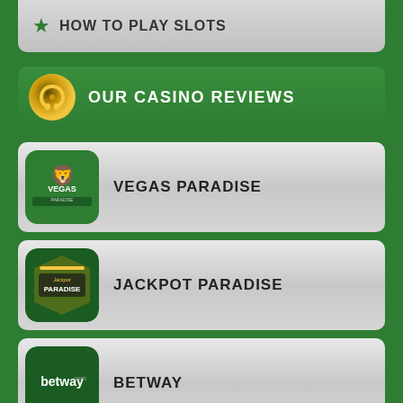HOW TO PLAY SLOTS
OUR CASINO REVIEWS
VEGAS PARADISE
JACKPOT PARADISE
BETWAY
PARTYCASINO
GOLDEN TIGER